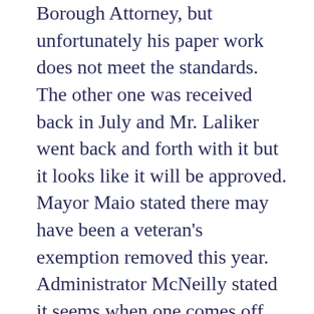Borough Attorney, but unfortunately his paper work does not meet the standards. The other one was received back in July and Mr. Laliker went back and forth with it but it looks like it will be approved. Mayor Maio stated there may have been a veteran's exemption removed this year. Administrator McNeilly stated it seems when one comes off another goes on. The number of disabled combat veterans will increase as time goes on with veterans from 1990 to present. Mr. Laliker stated the VA has changed their view. More applications are coming through. For example: a man who has had a 70% deduction for over 20 years went in for a physical and was told he was being given a 100% deduction without asking. They are also relaxing some of the requirements. It used to be a requirement that you